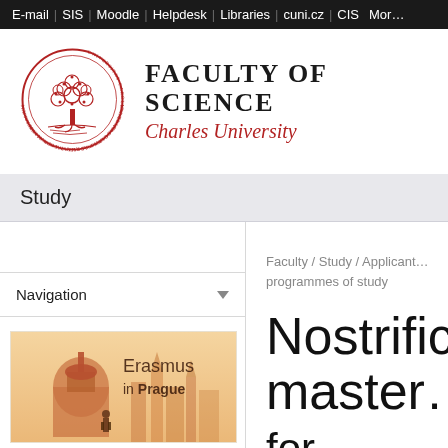E-mail | SIS | Moodle | Helpdesk | Libraries | cuni.cz | CIS | More
[Figure (logo): Charles University Faculty of Science circular seal/logo with tree motif in red]
FACULTY OF SCIENCE
Charles University
Study
Navigation
[Figure (photo): Erasmus in Prague promotional image showing Prague skyline in warm orange tones with text 'Erasmus in Prague']
Faculty / Study / Applicants programmes of study
Nostrific master for...